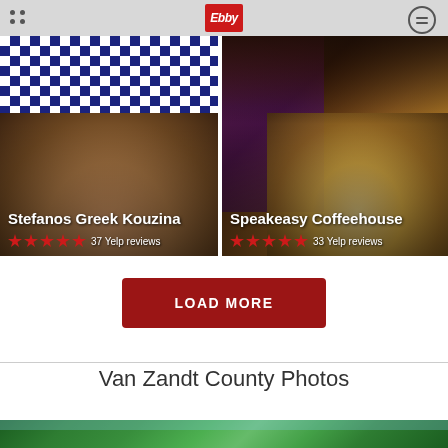Ebby logo header navigation bar
[Figure (photo): Stefanos Greek Kouzina - food in blue/white checkered basket]
[Figure (photo): Speakeasy Coffeehouse - drinks with whipped cream, musician in background]
LOAD MORE
Van Zandt County Photos
[Figure (photo): Outdoor nature/trees photo at bottom of page]